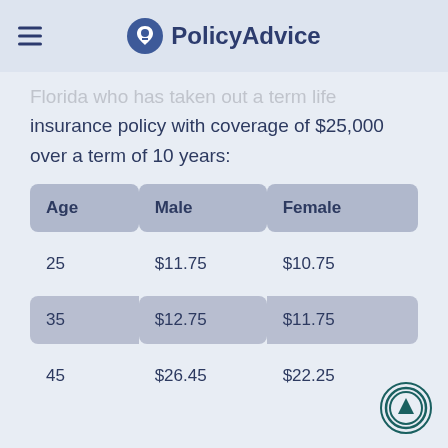PolicyAdvice
Florida who has taken out a term life insurance policy with coverage of $25,000 over a term of 10 years:
| Age | Male | Female |
| --- | --- | --- |
| 25 | $11.75 | $10.75 |
| 35 | $12.75 | $11.75 |
| 45 | $26.45 | $22.25 |